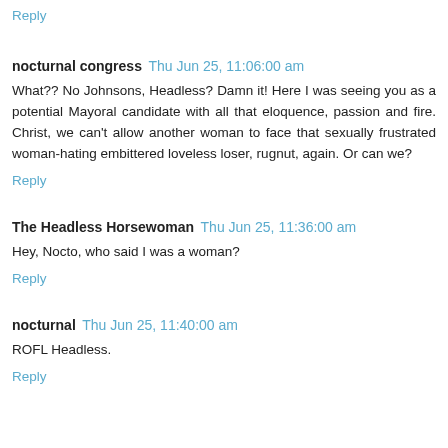Reply
nocturnal congress  Thu Jun 25, 11:06:00 am
What?? No Johnsons, Headless? Damn it! Here I was seeing you as a potential Mayoral candidate with all that eloquence, passion and fire. Christ, we can't allow another woman to face that sexually frustrated woman-hating embittered loveless loser, rugnut, again. Or can we?
Reply
The Headless Horsewoman  Thu Jun 25, 11:36:00 am
Hey, Nocto, who said I was a woman?
Reply
nocturnal  Thu Jun 25, 11:40:00 am
ROFL Headless.
Reply